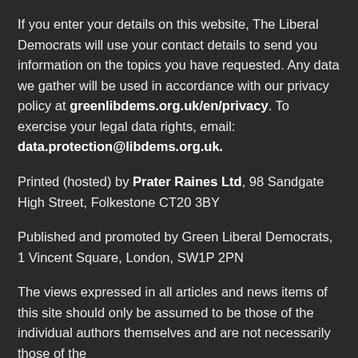If you enter your details on this website, The Liberal Democrats will use your contact details to send you information on the topics you have requested. Any data we gather will be used in accordance with our privacy policy at greenlibdems.org.uk/en/privacy. To exercise your legal data rights, email: data.protection@libdems.org.uk.
Printed (hosted) by Prater Raines Ltd, 98 Sandgate High Street, Folkestone CT20 3BY
Published and promoted by Green Liberal Democrats, 1 Vincent Square, London, SW1P 2PN
The views expressed in all articles and news items of this site should only be assumed to be those of the individual authors themselves and are not necessarily those of the